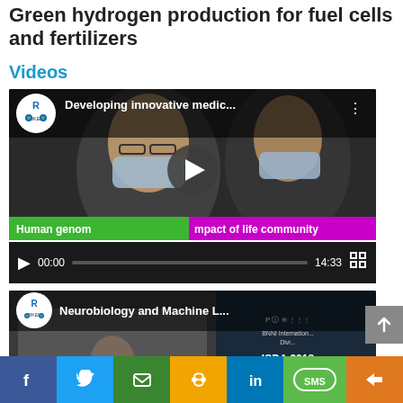Green hydrogen production for fuel cells and fertilizers
Videos
[Figure (screenshot): YouTube video thumbnail showing two masked researchers. Title: 'Developing innovative medic...' with RIKEN logo. Caption bar: 'Human genom' (green) and 'mpact of life community' (magenta).]
[Figure (screenshot): Video player control bar showing play button, 00:00 timestamp, progress bar, 14:33 duration, and fullscreen button on dark background.]
[Figure (screenshot): YouTube video thumbnail showing conference scene with speaker. Title: 'Neurobiology and Machine L...' with RIKEN logo. Text overlay: 'ISDA 2018'.]